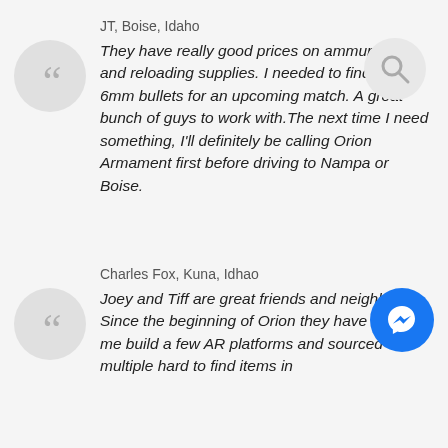JT, Boise, Idaho
They have really good prices on ammunition and reloading supplies. I needed to find some 6mm bullets for an upcoming match. A great bunch of guys to work with.The next time I need something, I'll definitely be calling Orion Armament first before driving to Nampa or Boise.
Charles Fox, Kuna, Idhao
Joey and Tiff are great friends and neighbors. Since the beginning of Orion they have helped me build a few AR platforms and sourced multiple hard to find items in